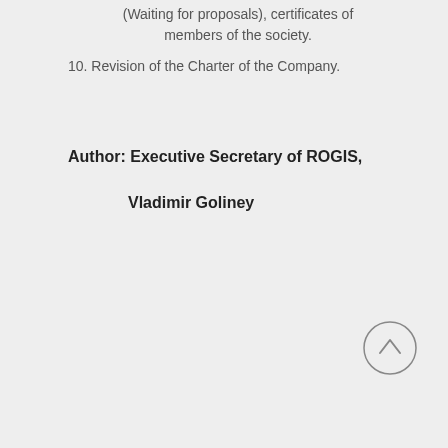(Waiting for proposals), certificates of members of the society.
10. Revision of the Charter of the Company.
Author: Executive Secretary of ROGIS,

Vladimir Goliney